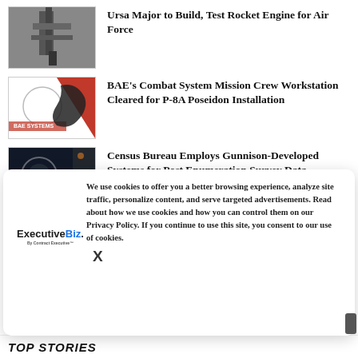[Figure (photo): Thumbnail image of rocket engine or machinery, dark grey tones]
Ursa Major to Build, Test Rocket Engine for Air Force
[Figure (photo): BAE Systems Combat System thumbnail with red logo, white circle, horse silhouette]
BAE's Combat System Mission Crew Workstation Cleared for P-8A Poseidon Installation
[Figure (photo): Gunnison logo thumbnail with dark background, circular elements, orange and green accents]
Census Bureau Employs Gunnison-Developed Systems for Post Enumeration Survey Data Processing
[Figure (photo): Blue sky/ocean thumbnail image]
Fincantieri Begins Construction of Navy's
[Figure (logo): ExecutiveBiz logo - text logo with blue Biz]
We use cookies to offer you a better browsing experience, analyze site traffic, personalize content, and serve targeted advertisements. Read about how we use cookies and how you can control them on our Privacy Policy. If you continue to use this site, you consent to our use of cookies.
TOP STORIES